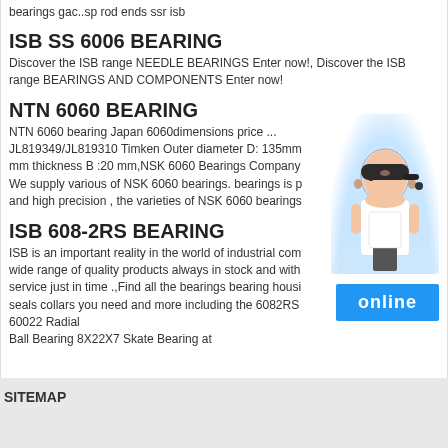bearings gac..sp rod ends ssr isb
ISB SS 6006 BEARING
Discover the ISB range NEEDLE BEARINGS Enter now!, Discover the ISB range BEARINGS AND COMPONENTS Enter now!
NTN 6060 BEARING
NTN 6060 bearing Japan 6060dimensions price ... JL819349/JL819310 Timken Outer diameter D: 135mm mm thickness B :20 mm,NSK 6060 Bearings Company We supply various of NSK 6060 bearings. bearings is p and high precision , the varieties of NSK 6060 bearings
[Figure (photo): Woman with headset customer service representative photo in circular crop]
ISB 608-2RS BEARING
ISB is an important reality in the world of industrial com wide range of quality products always in stock and with service just in time .,Find all the bearings bearing housi seals collars you need and more including the 6082RS 60022 Radial Ball Bearing 8X22X7 Skate Bearing at
[Figure (other): Online button - blue rectangle with white text 'online']
SITEMAP